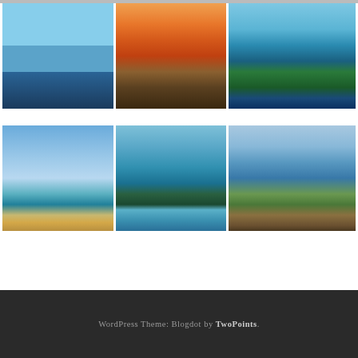[Figure (photo): Top strip - partially visible photo at top of page]
[Figure (photo): Beach with pool umbrellas and calm turquoise water]
[Figure (photo): Sunset over the ocean with dramatic orange and cloudy sky]
[Figure (photo): Aerial view of beach resort with pools and ocean]
[Figure (photo): Beach with blue sky, turquoise water, and beach umbrellas]
[Figure (photo): Infinity pool with palm trees silhouetted against ocean]
[Figure (photo): Thatched hut overlooking turquoise Caribbean sea]
WordPress Theme: Blogdot by TwoPoints.